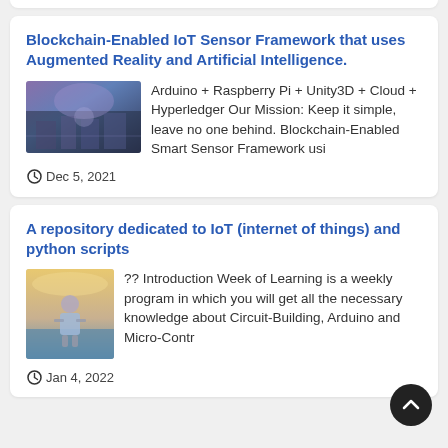Blockchain-Enabled IoT Sensor Framework that uses Augmented Reality and Artificial Intelligence.
[Figure (photo): Blurry cityscape/street scene with purple and blue tones suggesting futuristic or augmented reality environment]
Arduino + Raspberry Pi + Unity3D + Cloud + Hyperledger Our Mission: Keep it simple, leave no one behind. Blockchain-Enabled Smart Sensor Framework usi
Dec 5, 2021
A repository dedicated to IoT (internet of things) and python scripts
[Figure (photo): Person standing outdoors in casual clothing, appears to be at a waterfront or open area]
?? Introduction Week of Learning is a weekly program in which you will get all the necessary knowledge about Circuit-Building, Arduino and Micro-Contr
Jan 4, 2022